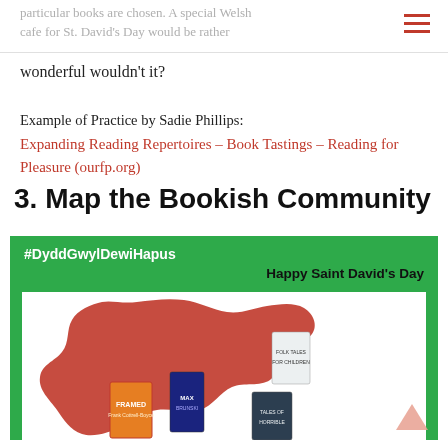particular books are chosen. A special Welsh cafe for St. David's Day would be rather wonderful wouldn't it?
Example of Practice by Sadie Phillips: Expanding Reading Repertoires – Book Tastings – Reading for Pleasure (ourfp.org)
3. Map the Bookish Community
[Figure (illustration): Green background card with white text '#DyddGwylDewiHapus' and black text 'Happy Saint David's Day', featuring a white inner box with a red silhouette map of Wales overlaid with book covers including 'Framed', a Max Brunski title, and other children's books.]